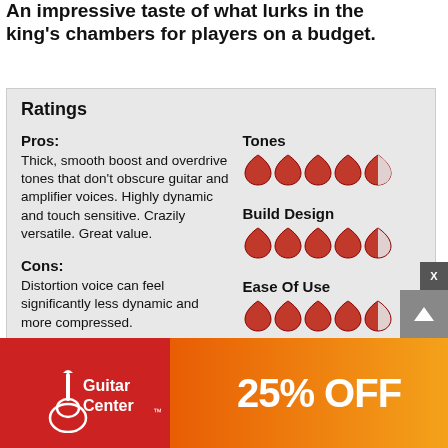An impressive taste of what lurks in the king's chambers for players on a budget.
Ratings
Pros: Thick, smooth boost and overdrive tones that don't obscure guitar and amplifier voices. Highly dynamic and touch sensitive. Crazily versatile. Great value.
[Figure (infographic): Ratings shown as guitar pick icons. Tones: 4.5/5 picks. Build Design: 4.5/5 picks. Ease Of Use: 4.5/5 picks. Value: 5/5 picks.]
Cons: Distortion voice can feel significantly less dynamic and more compressed.
Street: $149
MXR
jimd...
[Figure (advertisement): Guitar Center advertisement banner showing 25% OFF with Guitar Center logo on red and orange gradient background.]